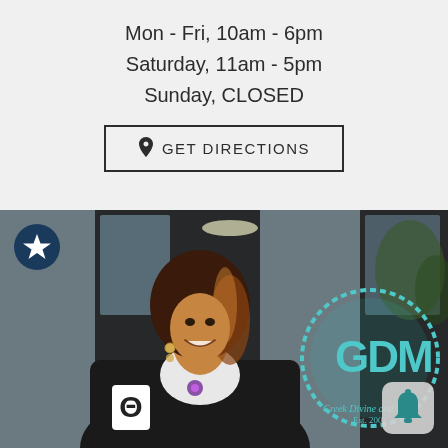Mon - Fri, 10am - 6pm
Saturday, 11am - 5pm
Sunday, CLOSED
GET DIRECTIONS
[Figure (photo): A smiling woman standing in front of a store entrance. On the glass door is a round teal logo reading 'GDM' with 'Greek Divine and More Est. 2002' below it. She wears a black jacket with a white letter patch. A teal star badge icon appears top-left and a bell notification icon appears bottom-right.]